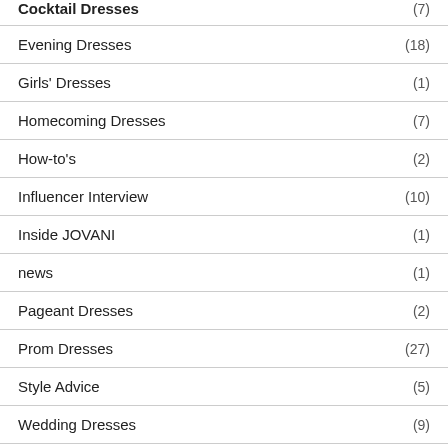Cocktail Dresses (7)
Evening Dresses (18)
Girls' Dresses (1)
Homecoming Dresses (7)
How-to's (2)
Influencer Interview (10)
Inside JOVANI (1)
news (1)
Pageant Dresses (2)
Prom Dresses (27)
Style Advice (5)
Wedding Dresses (9)